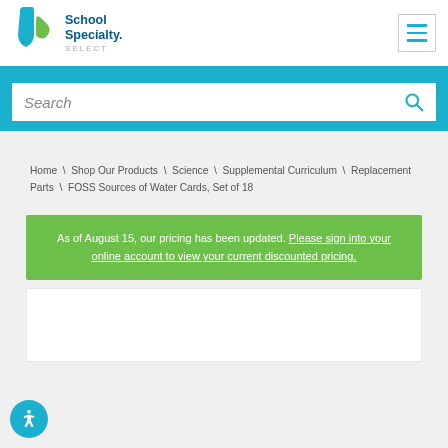[Figure (logo): School Specialty Select logo with teal and green icon]
[Figure (other): Hamburger menu button with three teal horizontal lines]
Search
Home \ Shop Our Products \ Science \ Supplemental Curriculum \ Replacement Parts \ FOSS Sources of Water Cards, Set of 18
As of August 15, our pricing has been updated. Please sign into your online account to view your current discounted pricing.